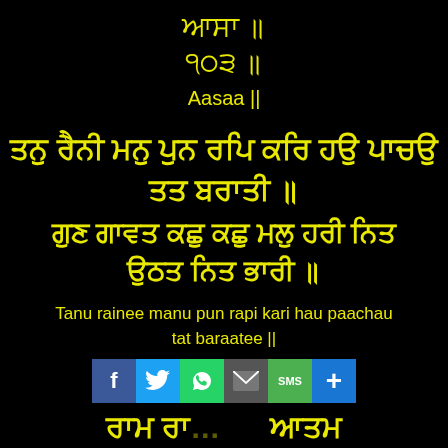ਆਸਾ ॥
੧੦੩ ॥
Aasaa ||
ਤਨੁ ਰੈਨੀ ਮਨੁ ਪੁਨ ਰਪਿ ਕਰਿ ਹਉ ਪਾਚਉ ਤਤ ਬਰਾਤੀ ॥
ਗੁਣ ਗਾਵਤ ਕਛੁ ਕਛੁ ਮਲੁ ਹਰੀ ਨਿਤ ਉਠਤ ਨਿਤ ਭਾਰੀ ॥
Tanu rainee manu pun rapi kari hau paachau tat baraatee ||
[Figure (infographic): Social media sharing bar with icons: Facebook (f), Twitter (bird), WhatsApp (phone), Email (envelope), SMS, and plus button]
ਰਾਮ ਰਾ... ਆਤਮ